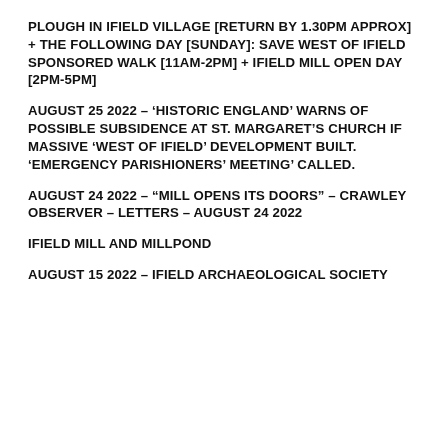PLOUGH IN IFIELD VILLAGE [RETURN BY 1.30PM APPROX] + THE FOLLOWING DAY [SUNDAY]: SAVE WEST OF IFIELD SPONSORED WALK [11AM-2PM] + IFIELD MILL OPEN DAY [2PM-5PM]
AUGUST 25 2022 – 'HISTORIC ENGLAND' WARNS OF POSSIBLE SUBSIDENCE AT ST. MARGARET'S CHURCH IF MASSIVE 'WEST OF IFIELD' DEVELOPMENT BUILT. 'EMERGENCY PARISHIONERS' MEETING' CALLED.
AUGUST 24 2022 – "MILL OPENS ITS DOORS" – CRAWLEY OBSERVER – LETTERS – AUGUST 24 2022
IFIELD MILL AND MILLPOND
AUGUST 15 2022 – IFIELD ARCHAEOLOGICAL SOCIETY